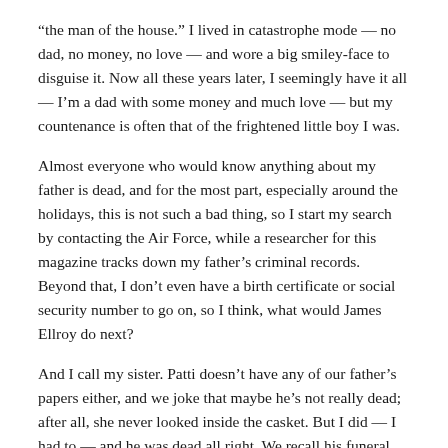“the man of the house.” I lived in catastrophe mode — no dad, no money, no love — and wore a big smiley-face to disguise it. Now all these years later, I seemingly have it all — I’m a dad with some money and much love — but my countenance is often that of the frightened little boy I was.
Almost everyone who would know anything about my father is dead, and for the most part, especially around the holidays, this is not such a bad thing, so I start my search by contacting the Air Force, while a researcher for this magazine tracks down my father’s criminal records. Beyond that, I don’t even have a birth certificate or social security number to go on, so I think, what would James Ellroy do next?
And I call my sister. Patti doesn’t have any of our father’s papers either, and we joke that maybe he’s not really dead; after all, she never looked inside the casket. But I did — I had to — and he was dead all right. We recall his funeral, and the good laugh we enjoyed before the eulogy, when the rabbi asked us to enumerate my father’s good qualities. We drew a blank, so the rabbi had to fall back on his standard repertoire.
“Jack Carlat was a dreamer,” he said. “He shot for the stars and